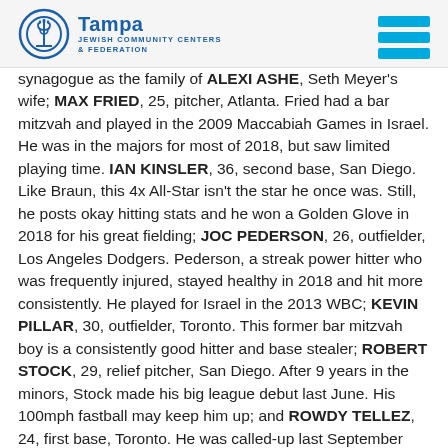Tampa Jewish Community Centers & Federation
synagogue as the family of ALEXI ASHE, Seth Meyer's wife; MAX FRIED, 25, pitcher, Atlanta. Fried had a bar mitzvah and played in the 2009 Maccabiah Games in Israel. He was in the majors for most of 2018, but saw limited playing time. IAN KINSLER, 36, second base, San Diego. Like Braun, this 4x All-Star isn't the star he once was. Still, he posts okay hitting stats and he won a Golden Glove in 2018 for his great fielding; JOC PEDERSON, 26, outfielder, Los Angeles Dodgers. Pederson, a streak power hitter who was frequently injured, stayed healthy in 2018 and hit more consistently. He played for Israel in the 2013 WBC; KEVIN PILLAR, 30, outfielder, Toronto. This former bar mitzvah boy is a consistently good hitter and base stealer; ROBERT STOCK, 29, relief pitcher, San Diego. After 9 years in the minors, Stock made his big league debut last June. His 100mph fastball may keep him up; and ROWDY TELLEZ, 24, first base, Toronto. He was called-up last September and was on a hitting tear for the rest of the